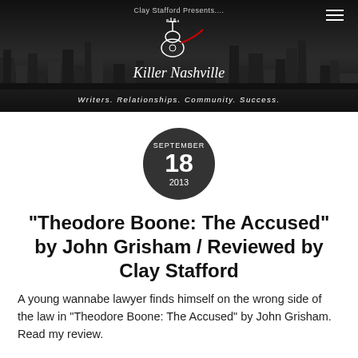[Figure (screenshot): Killer Nashville website header banner with dark city skyline background, logo, and tagline 'Writers. Relationships. Community. Success.']
SEPTEMBER 18 2013
“Theodore Boone: The Accused” by John Grisham / Reviewed by Clay Stafford
A young wannabe lawyer finds himself on the wrong side of the law in “Theodore Boone: The Accused” by John Grisham. Read my review.